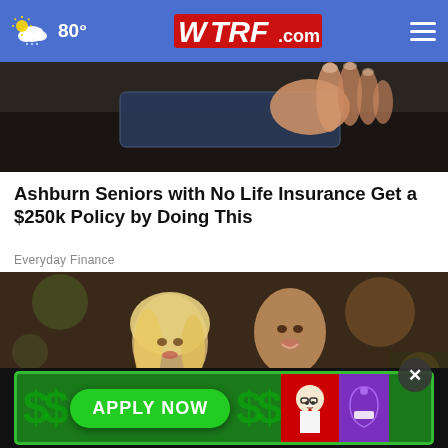WTRF.com — 80°
[Figure (photo): Close-up photo of a hand holding a credit card or similar card on a dark surface]
Ashburn Seniors with No Life Insurance Get a $250k Policy by Doing This
Everyday Finance
[Figure (photo): A smiling blonde woman in a green dress stands next to a man in a black tuxedo with a white boutonniere at a formal event]
[Figure (infographic): Advertisement banner with dollar signs, APPLY NOW button, KFC and Taco Bell logos on dark green background]